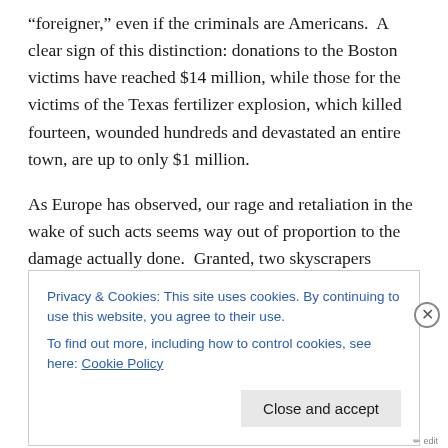“foreigner,” even if the criminals are Americans. A clear sign of this distinction: donations to the Boston victims have reached $14 million, while those for the victims of the Texas fertilizer explosion, which killed fourteen, wounded hundreds and devastated an entire town, are up to only $1 million.
As Europe has observed, our rage and retaliation in the wake of such acts seems way out of proportion to the damage actually done. Granted, two skyscrapers obliterated and some 3000 people dead is serious
Privacy & Cookies: This site uses cookies. By continuing to use this website, you agree to their use.
To find out more, including how to control cookies, see here: Cookie Policy
Close and accept